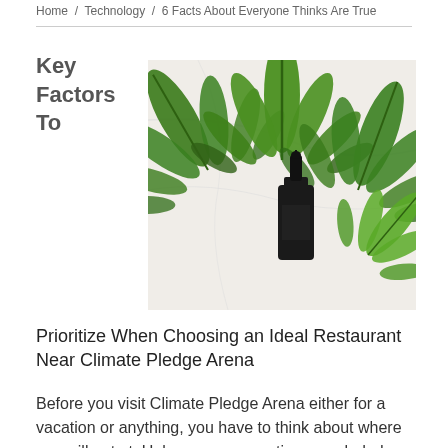Home / Technology / 6 Facts About Everyone Thinks Are True
Key Factors To
[Figure (photo): Cannabis leaves and a dark dropper bottle on a white marble surface]
Prioritize When Choosing an Ideal Restaurant Near Climate Pledge Arena
Before you visit Climate Pledge Arena either for a vacation or anything, you have to think about where you will eat at. Unless you are renting a secluded cottage, you